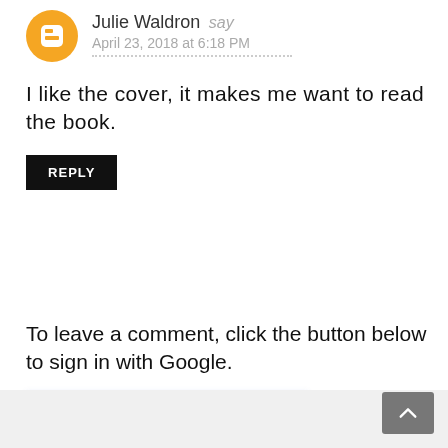Julie Waldron say
April 23, 2018 at 6:18 PM
I like the cover, it makes me want to read the book.
REPLY
To leave a comment, click the button below to sign in with Google.
SIGN IN WITH GOOGLE